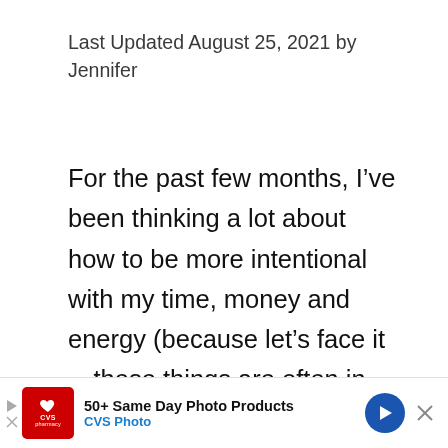Last Updated August 25, 2021 by Jennifer
For the past few months, I’ve been thinking a lot about how to be more intentional with my time, money and energy (because let’s face it—these things are often in short supply!).
What I’ve realised is that if I want to have more of the things that matter
[Figure (other): Heart/like button (teal circle with heart icon) with count 1.4K, and a share button below it]
[Figure (other): CVS Pharmacy advertisement banner: '50+ Same Day Photo Products, CVS Photo' with CVS logo, blue arrow icon, and close X button]